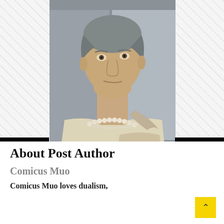[Figure (photo): A man wearing a pearl necklace and a cream/beige toga-style garment, looking upward, photographed from chest up against a grey architectural background.]
PREVIOUS POST
NEXT POST
About Post Author
Comicus Muo
Comicus Muo loves dualism,